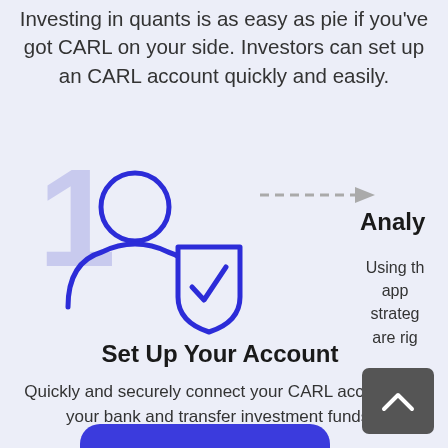Investing in quants is as easy as pie if you've got CARL on your side. Investors can set up an CARL account quickly and easily.
[Figure (illustration): Large light purple numeral '1' in background with a blue outline icon of a person with a shield and checkmark in front of it. A dashed arrow pointing right leads to partially visible text 'Analy' on the right side.]
Set Up Your Account
Quickly and securely connect your CARL account to your bank and transfer investment funds.
Analy
Using th appr strateg are rig